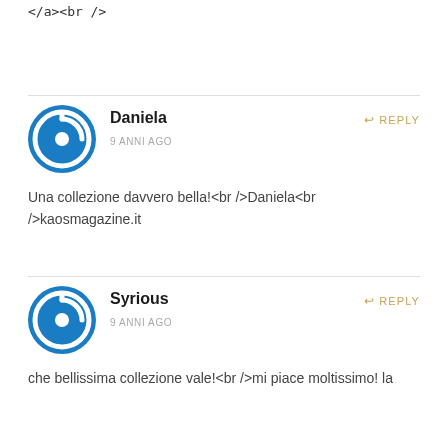</a><br />
Daniela
9 ANNI AGO
Una collezione davvero bella!<br />Daniela<br />kaosmagazine.it
REPLY
Syrious
9 ANNI AGO
che bellissima collezione vale!<br />mi piace moltissimo! la
REPLY